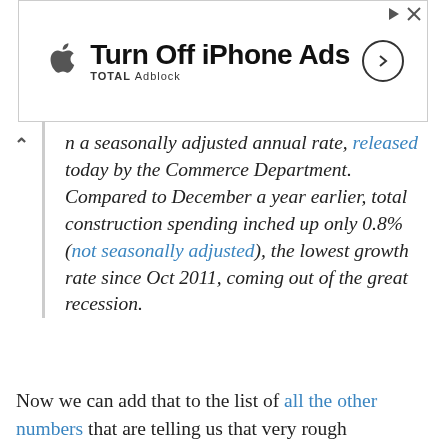[Figure (other): Advertisement banner: Apple logo, 'Turn Off iPhone Ads' headline, 'TOTAL Adblock' subtext, arrow circle button, and close/info icons.]
On a seasonally adjusted annual rate, released today by the Commerce Department. Compared to December a year earlier, total construction spending inched up only 0.8% (not seasonally adjusted), the lowest growth rate since Oct 2011, coming out of the great recession.
Now we can add that to the list of all the other numbers that are telling us that very rough